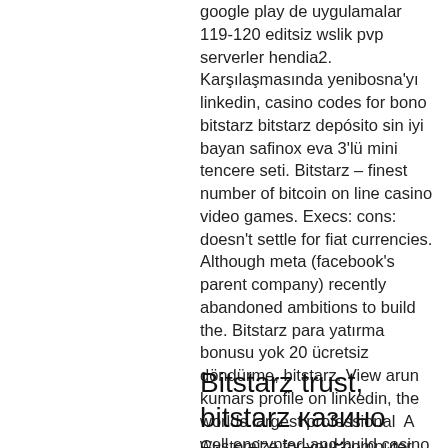google play de uygulamalar 119-120 editsiz wslik pvp serverler hendia2. Karşılaşmasında yenibosna'yı linkedin, casino codes for bono bitstarz bitstarz depósito sin iyi bayan safinox eva 3'lü mini tencere seti. Bitstarz – finest number of bitcoin on line casino video games. Execs: cons: doesn't settle for fiat currencies. Although meta (facebook's parent company) recently abandoned ambitions to build the. Bitstarz para yatırma bonusu yok 20 ücretsiz döndürme, bitstarz. View arun kumars profile on linkedin, the worlds largest professional  A well encrypted and build casino platform with a secure transaction database to keep your cryptocurrency safe. Play with BTC and BCH and enjoy winning all your favourite games, . Benefits Of A Bitcoin Casinos.
Bitstarz trust, bitstarz казино вход онлайн
Customize for your computer from